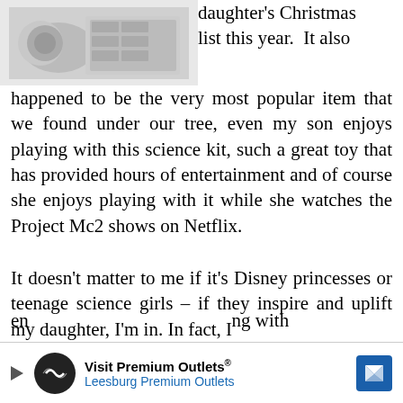[Figure (photo): Partial image of a science kit product in top-left corner]
daughter's Christmas list this year. It also happened to be the very most popular item that we found under our tree, even my son enjoys playing with this science kit, such a great toy that has provided hours of entertainment and of course she enjoys playing with it while she watches the Project Mc2 shows on Netflix.
It doesn't matter to me if it's Disney princesses or teenage science girls – if they inspire and uplift my daughter, I'm in. In fact, I
[Figure (other): Advertisement banner: Visit Premium Outlets® / Leesburg Premium Outlets with logo and navigation icon]